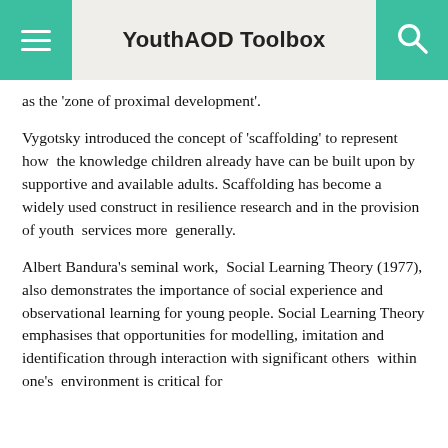YouthAOD Toolbox
as the ‘zone of proximal development’.
Vygotsky introduced the concept of ‘scaffolding’ to represent how the knowledge children already have can be built upon by supportive and available adults. Scaffolding has become a widely used construct in resilience research and in the provision of youth services more generally.
Albert Bandura’s seminal work, Social Learning Theory (1977), also demonstrates the importance of social experience and observational learning for young people. Social Learning Theory emphasises that opportunities for modelling, imitation and identification through interaction with significant others within one’s environment is critical for